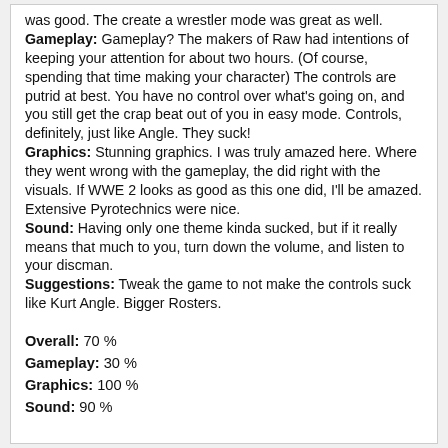was good. The create a wrestler mode was great as well. Gameplay: Gameplay? The makers of Raw had intentions of keeping your attention for about two hours. (Of course, spending that time making your character) The controls are putrid at best. You have no control over what's going on, and you still get the crap beat out of you in easy mode. Controls, definitely, just like Angle. They suck! Graphics: Stunning graphics. I was truly amazed here. Where they went wrong with the gameplay, the did right with the visuals. If WWE 2 looks as good as this one did, I'll be amazed. Extensive Pyrotechnics were nice. Sound: Having only one theme kinda sucked, but if it really means that much to you, turn down the volume, and listen to your discman. Suggestions: Tweak the game to not make the controls suck like Kurt Angle. Bigger Rosters.
Overall: 70 %
Gameplay: 30 %
Graphics: 100 %
Sound: 90 %